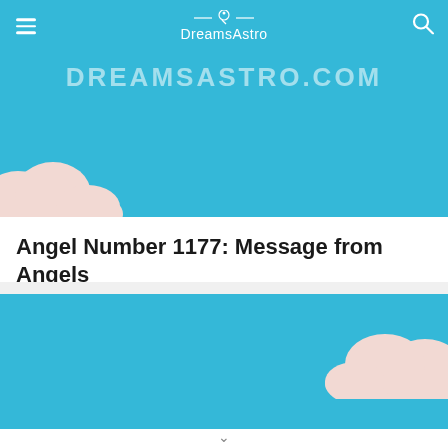DreamsAstro
[Figure (illustration): Blue sky banner with DREAMSASTRO.COM text and cloud decorations]
Angel Number 1177: Message from Angels
[Figure (illustration): Second blue sky banner with cloud decoration on the right side]